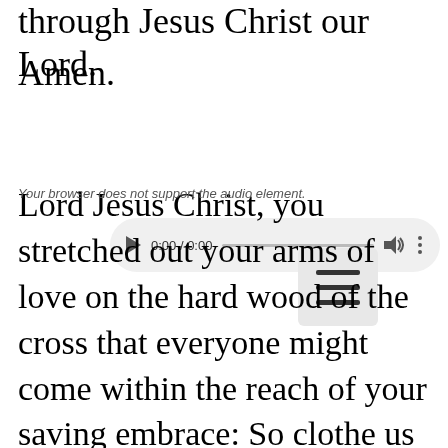through Jesus Christ our Lord.
Amen.
[Figure (other): Audio player widget showing 0:00 / 0:00 with play button, progress bar, volume icon, and menu dots, plus a hamburger menu button overlapping]
Your browser does not support the audio element.
Lord Jesus Christ, you stretched out your arms of love on the hard wood of the cross that everyone might come within the reach of your saving embrace: So clothe us in your Spirit that we, reaching forth our hands in love, may bring those who do not know you to the knowledge and love